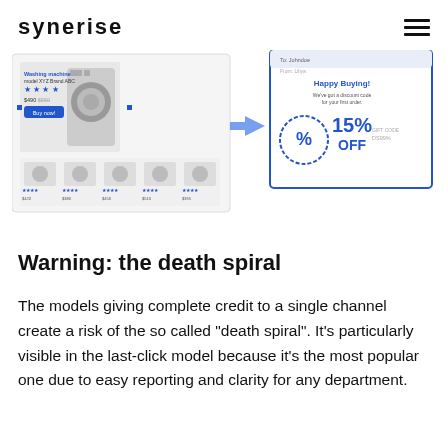SYNERISE
[Figure (screenshot): Screenshot showing two UI panels: left panel shows a washing machine product page with model details, star ratings, and price; right panel shows a discount popup with '15% OFF' and 'Happy Buying!' text with a percentage badge icon. An arrow points from the right panel to the left panel.]
Warning: the death spiral
The models giving complete credit to a single channel create a risk of the so called “death spiral”. It’s particularly visible in the last-click model because it’s the most popular one due to easy reporting and clarity for any department.